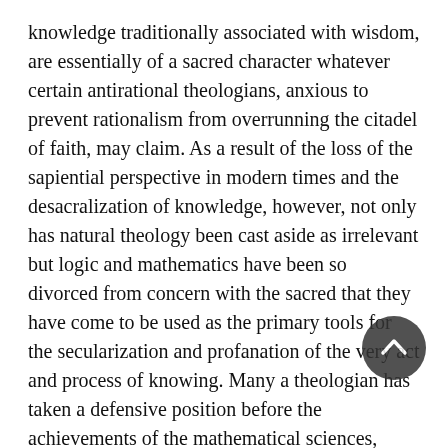knowledge traditionally associated with wisdom, are essentially of a sacred character whatever certain antirational theologians, anxious to prevent rationalism from overrunning the citadel of faith, may claim. As a result of the loss of the sapiential perspective in modern times and the desacralization of knowledge, however, not only has natural theology been cast aside as irrelevant but logic and mathematics have been so divorced from concern with the sacred that they have come to be used as the primary tools for the secularization and profanation of the very act and process of knowing. Many a theologian has taken a defensive position before the achievements of the mathematical sciences, unaware that in the certitude which the propagators of such sciences claim lies a reflection of that Intellect¹⁰ which is the grand path to the Sacred and which itself is of a sacred nature, the Intellect without whose reflection there would be no logical and mathematical